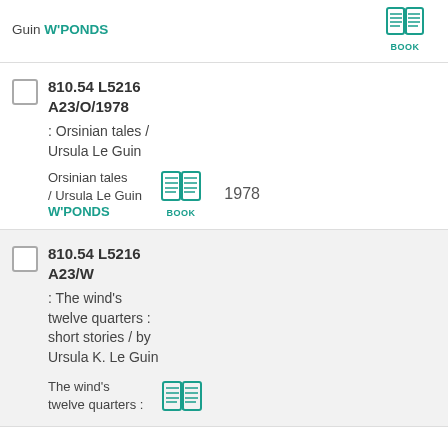Guin W'PONDS — BOOK
810.54 L5216 A23/O/1978 : Orsinian tales / Ursula Le Guin — Orsinian tales / Ursula Le Guin — W'PONDS — BOOK — 1978
810.54 L5216 A23/W : The wind's twelve quarters : short stories / by Ursula K. Le Guin — The wind's twelve quarters :